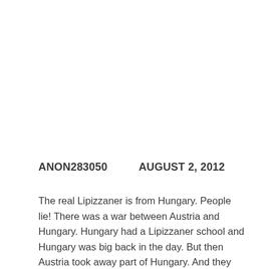ANON283050    AUGUST 2, 2012
The real Lipizzaner is from Hungary. People lie! There was a war between Austria and Hungary. Hungary had a Lipizzaner school and Hungary was big back in the day. But then Austria took away part of Hungary. And they took the land that had the Lipizzaner School. And now